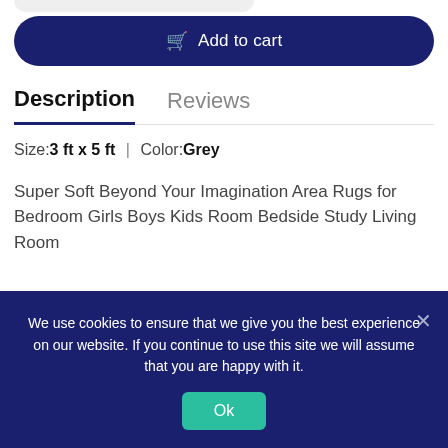[Figure (other): Partially clipped rounded rectangle element at top of page]
Add to cart
Description	Reviews
Size:3 ft x 5 ft | Color:Grey
Super Soft Beyond Your Imagination Area Rugs for Bedroom Girls Boys Kids Room Bedside Study Living Room
We use cookies to ensure that we give you the best experience on our website. If you continue to use this site we will assume that you are happy with it.
Ok